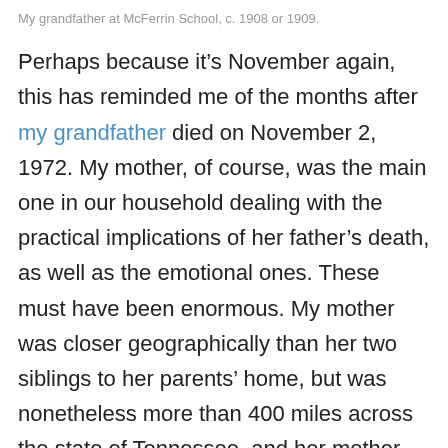My grandfather at McFerrin School, c. 1908 or 1909.
Perhaps because it's November again, this has reminded me of the months after my grandfather died on November 2, 1972. My mother, of course, was the main one in our household dealing with the practical implications of her father's death, as well as the emotional ones. These must have been enormous. My mother was closer geographically than her two siblings to her parents' home, but was nonetheless more than 400 miles across the state of Tennessee, and her mother had grown fragile and fractious and was soon to enter into nursing-home-land. My mother filed changes of address on numerous accounts from their house to our house, so she could make sure that nothing slipped between the cracks. My grandfather had been in the hospital for several weeks,